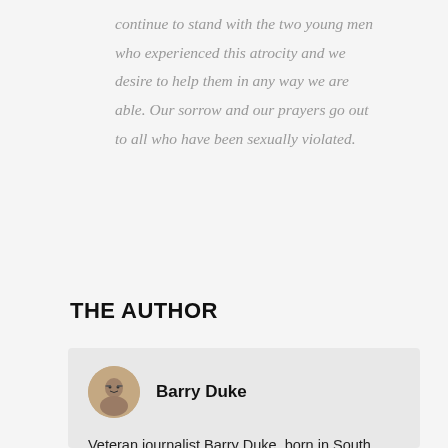continue to stand with the two young men who experienced this atrocity and we desire to help them in any way we are able. Our sorrow and our prayers go out to all who have been sexually violated.
THE AUTHOR
[Figure (photo): Circular portrait photo of Barry Duke, an older man wearing glasses]
Barry Duke
Veteran journalist Barry Duke, born in South Africa in 1947, settled in the UK in 1973, where he became actively involved in the anti-apartheid movement and gay rights organisations. A militant atheist, he joined the National Secular Society (NSS) and was a co-founder in 1979 of the Gay Humanist Group